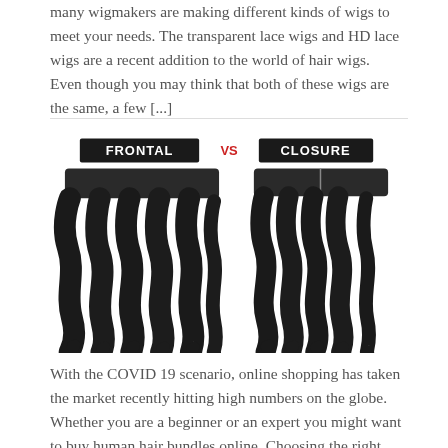many wigmakers are making different kinds of wigs to meet your needs. The transparent lace wigs and HD lace wigs are a recent addition to the world of hair wigs.  Even though you may think that both of these wigs are the same, a few [...]
[Figure (illustration): Side-by-side comparison of a hair frontal piece versus a hair closure piece. 'FRONTAL' label on black background on the left, 'vs' in red text in the center, 'CLOSURE' label on black background on the right. Both show wavy dark hair pieces.]
With the COVID 19 scenario, online shopping has taken the market recently hitting high numbers on the globe. Whether you are a beginner or an expert you might want to buy human hair bundles online. Choosing the right closure might be quite a tricky and hectic thing to do.  The